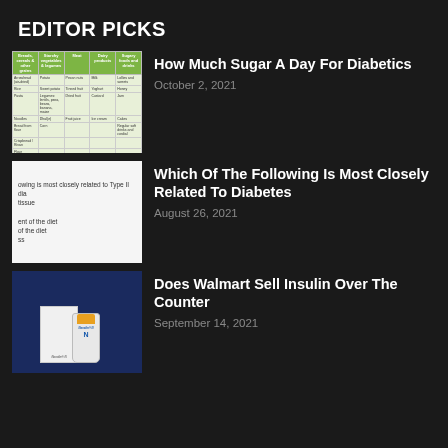EDITOR PICKS
[Figure (table-as-image): A food chart table showing categories like Breads/cereals/grain, Starchy vegetables/legumes, Meat, Dairy products, and Sugary foods and drinks with food items listed in each column.]
How Much Sugar A Day For Diabetics
October 2, 2021
[Figure (screenshot): A screenshot of a quiz or article showing text: 'owing is most closely related to Type II dia', 'tissue', 'ent of the diet', 'of the diet', 'ss']
Which Of The Following Is Most Closely Related To Diabetes
August 26, 2021
[Figure (photo): Photo of Novolin N insulin products - a box and a vial with orange cap against a blue background]
Does Walmart Sell Insulin Over The Counter
September 14, 2021